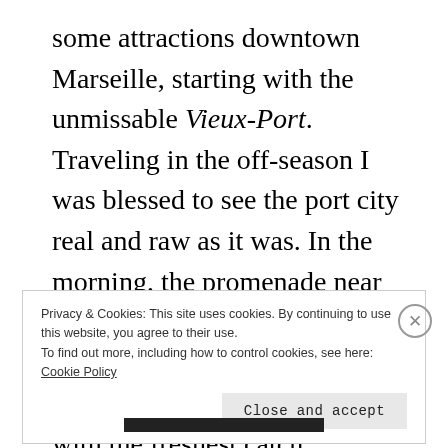some attractions downtown Marseille, starting with the unmissable Vieux-Port. Traveling in the off-season I was blessed to see the port city real and raw as it was. In the morning, the promenade near Quai des Belges was lined with a bunch of fish stalls which invited local shoppers in with the freshest catch although the food seemed a little pricey. The city may not have that fancy and
Privacy & Cookies: This site uses cookies. By continuing to use this website, you agree to their use.
To find out more, including how to control cookies, see here: Cookie Policy
Close and accept